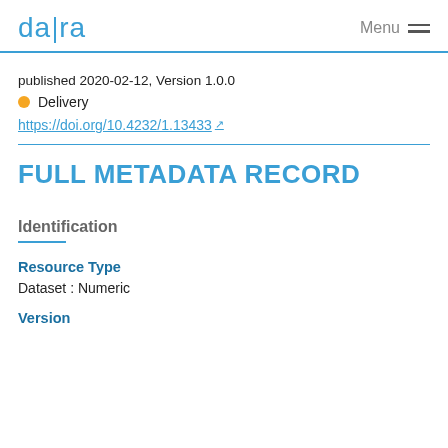da|ra   Menu
published 2020-02-12, Version 1.0.0
Delivery
https://doi.org/10.4232/1.13433
FULL METADATA RECORD
Identification
Resource Type
Dataset : Numeric
Version